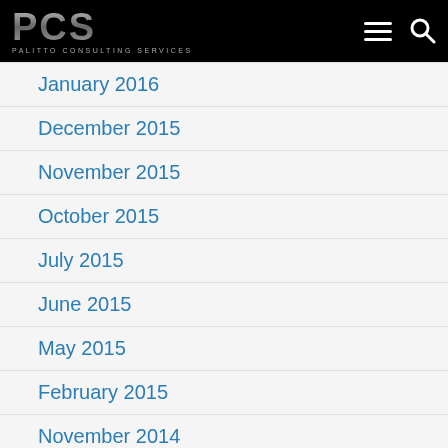PCS PALITTO CONSULTING SERVICES
January 2016
December 2015
November 2015
October 2015
July 2015
June 2015
May 2015
February 2015
November 2014
October 2014
July 2014
June 2014
March 2014